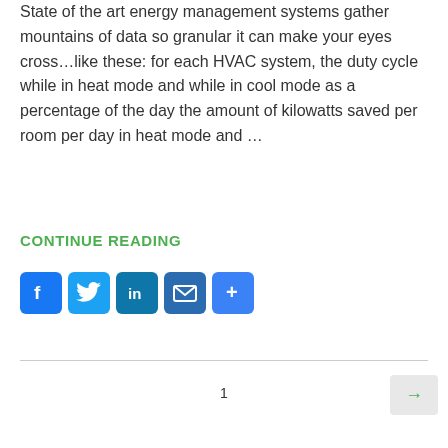State of the art energy management systems gather mountains of data so granular it can make your eyes cross…like these: for each HVAC system, the duty cycle while in heat mode and while in cool mode as a percentage of the day the amount of kilowatts saved per room per day in heat mode and …
CONTINUE READING
[Figure (other): Social sharing icons: Facebook, Twitter, LinkedIn, Email, Share]
1